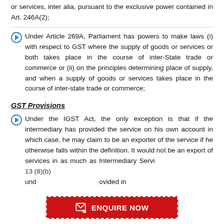or services, inter alia, pursuant to the exclusive power contained in Art. 246A(2);
Under Article 269A, Parliament has powers to make laws (i) with respect to GST where the supply of goods or services or both takes place in the course of inter-State trade or commerce or (ii) on the principles determining place of supply, and when a supply of goods or services takes place in the course of inter-state trade or commerce;
GST Provisions
Under the IGST Act, the only exception is that if the intermediary has provided the service on his own account in which case, he may claim to be an exporter of the service if he otherwise falls within the definition. It would not be an export of services in as much as Intermediary Services are specifically excluded in Section 13 (8)(b) under... provided in